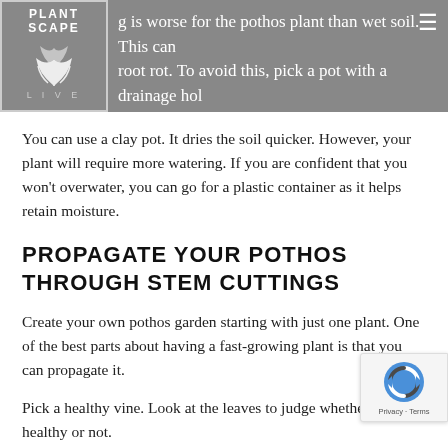g is worse for the pothos plant than wet soil. This can root rot. To avoid this, pick a pot with a drainage hole at the bottom. It removes any excess water.
You can use a clay pot. It dries the soil quicker. However, your plant will require more watering. If you are confident that you won't overwater, you can go for a plastic container as it helps retain moisture.
PROPAGATE YOUR POTHOS THROUGH STEM CUTTINGS
Create your own pothos garden starting with just one plant. One of the best parts about having a fast-growing plant is that you can propagate it.
Pick a healthy vine. Look at the leaves to judge whether the vine is healthy or not.
Cut the vine above a root node. The stem should be 4-6